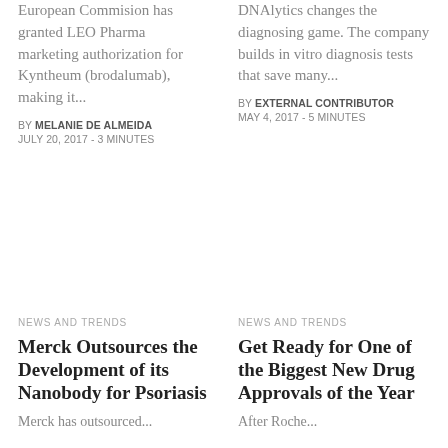European Commision has granted LEO Pharma marketing authorization for Kyntheum (brodalumab), making it...
DNAlytics changes the diagnosing game. The company builds in vitro diagnosis tests that save many...
BY MELANIE DE ALMEIDA
JULY 20, 2017 - 3 MINUTES
BY EXTERNAL CONTRIBUTOR
MAY 4, 2017 - 5 MINUTES
NEWS AND TRENDS
NEWS AND TRENDS
Merck Outsources the Development of its Nanobody for Psoriasis
Get Ready for One of the Biggest New Drug Approvals of the Year
Merck has outsourced...
After Roche...